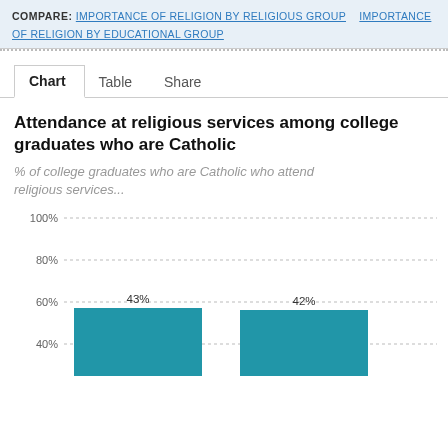COMPARE: IMPORTANCE OF RELIGION BY RELIGIOUS GROUP  IMPORTANCE OF RELIGION BY EDUCATIONAL GROUP
Chart   Table   Share
Attendance at religious services among college graduates who are Catholic
% of college graduates who are Catholic who attend religious services...
[Figure (bar-chart): Attendance at religious services among college graduates who are Catholic]